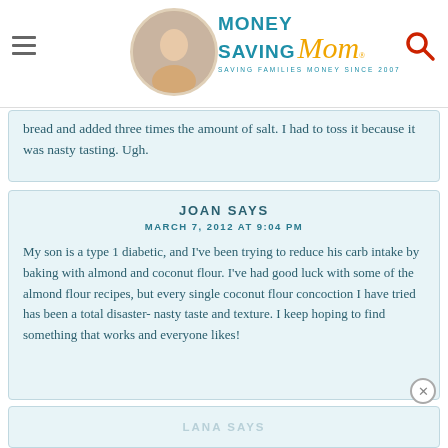Money Saving Mom - SAVING FAMILIES MONEY SINCE 2007
bread and added three times the amount of salt. I had to toss it because it was nasty tasting. Ugh.
JOAN SAYS
MARCH 7, 2012 AT 9:04 PM
My son is a type 1 diabetic, and I've been trying to reduce his carb intake by baking with almond and coconut flour. I've had good luck with some of the almond flour recipes, but every single coconut flour concoction I have tried has been a total disaster- nasty taste and texture. I keep hoping to find something that works and everyone likes!
LANA SAYS